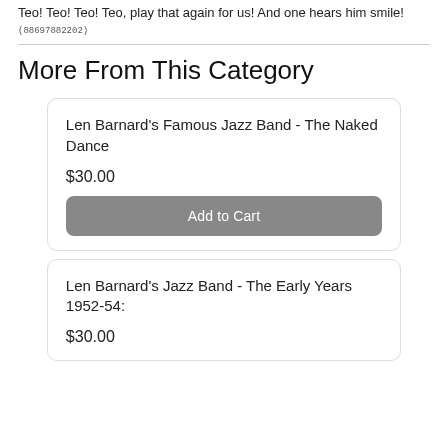Teo! Teo! Teo! Teo, play that again for us! And one hears him smile!
(88697882202)
More From This Category
Len Barnard's Famous Jazz Band - The Naked Dance

$30.00
Add to Cart
Len Barnard's Jazz Band - The Early Years 1952-54:

$30.00